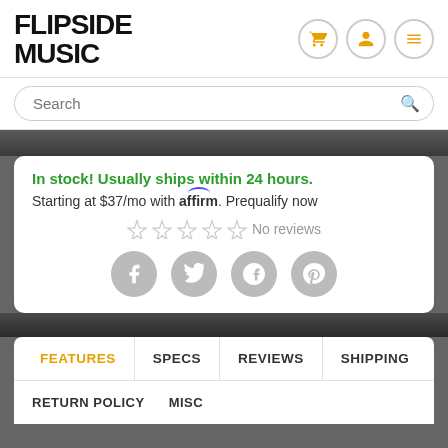[Figure (logo): Flipside Music logo — bold distressed uppercase text]
Search
In stock! Usually ships within 24 hours.
Starting at $37/mo with affirm. Prequalify now
☆ ☆ ☆ ☆ ☆ No reviews
[Figure (illustration): Social sharing icons: Facebook, Twitter, Google+, Pinterest]
FEATURES | SPECS | REVIEWS | SHIPPING
RETURN POLICY | MISC